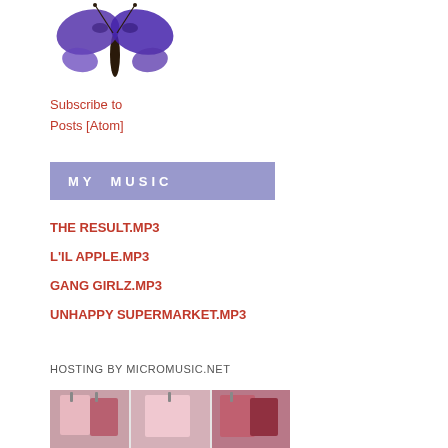[Figure (photo): A purple butterfly illustration on white background]
Subscribe to
Posts [Atom]
MY MUSIC
THE RESULT.MP3
L'IL APPLE.MP3
GANG GIRLZ.MP3
UNHAPPY SUPERMARKET.MP3
HOSTING BY MICROMUSIC.NET
[Figure (photo): Photo of lingerie/bras displayed on hangers in a shop window, three panels side by side]